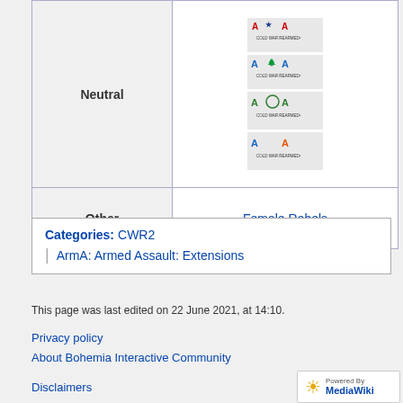| Side | Factions/Addons |
| --- | --- |
| Neutral | [logos: Cold War Rearmed 2 variants x4] |
| Other | Female Rebels |
Categories:  CWR2
| ArmA: Armed Assault: Extensions
This page was last edited on 22 June 2021, at 14:10.
Privacy policy
About Bohemia Interactive Community
Disclaimers